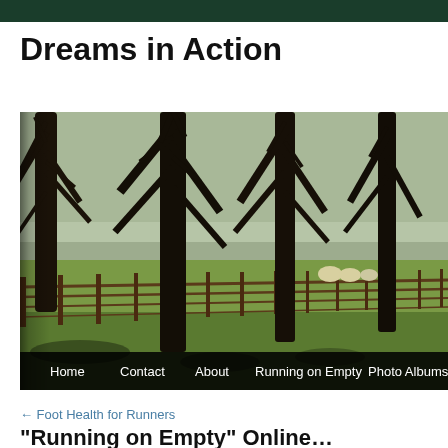Dreams in Action
[Figure (photo): Landscape photo showing a row of tall bare trees along a wooden fence in a pastoral field with green grass. Hay bales visible in the background under a misty sky. Navigation bar at the bottom shows: Home, Contact, About, Running on Empty, Photo Albums, A...]
← Foot Health for Runners
“Running on Empty” Online…